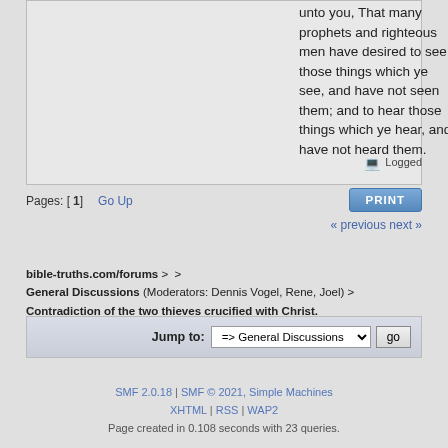unto you, That many prophets and righteous men have desired to see those things which ye see, and have not seen them; and to hear those things which ye hear, and have not heard them.
Logged
Pages: [1]   Go Up
« previous next »
bible-truths.com/forums > > General Discussions (Moderators: Dennis Vogel, Rene, Joel) > Contradiction of the two thieves crucified with Christ.
Jump to: => General Discussions  go
SMF 2.0.18 | SMF © 2021, Simple Machines
XHTML | RSS | WAP2
Page created in 0.108 seconds with 23 queries.